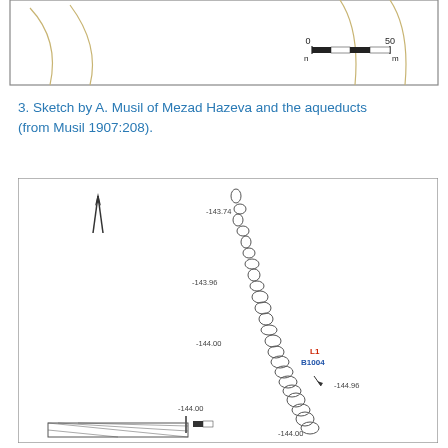[Figure (engineering-diagram): Top portion of an archaeological site sketch showing terrain contour lines and a scale bar (0 to 50 m).]
3. Sketch by A. Musil of Mezad Hazeva and the aqueducts (from Musil 1907:208).
[Figure (engineering-diagram): Archaeological excavation plan/elevation drawing showing a diagonal line of stones/objects running from upper center to lower right, with elevation annotations: -143.74, -143.96, -144.00, -144.96, -144.00, -144.00. Labels L1 (in red) and B1004 (in blue) annotate a section of the structure. A north arrow is shown in upper left. A scale bar is shown in lower left area.]